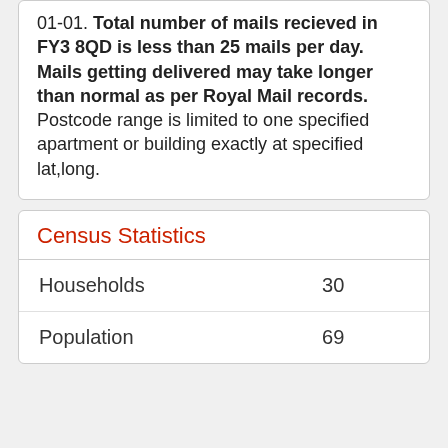01-01. Total number of mails recieved in FY3 8QD is less than 25 mails per day. Mails getting delivered may take longer than normal as per Royal Mail records. Postcode range is limited to one specified apartment or building exactly at specified lat,long.
Census Statistics
|  |  |
| --- | --- |
| Households | 30 |
| Population | 69 |